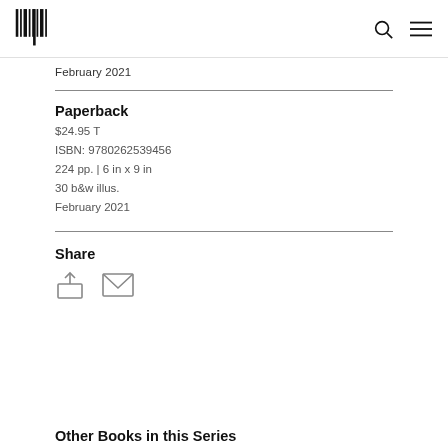MIT Press logo, search icon, menu icon
February 2021
Paperback
$24.95 T
ISBN: 9780262539456
224 pp. | 6 in x 9 in
30 b&w illus.
February 2021
Share
Other Books in this Series